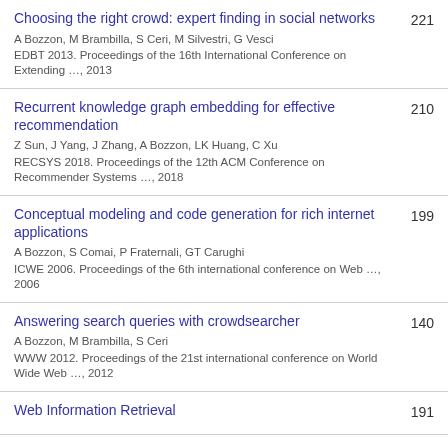Choosing the right crowd: expert finding in social networks
A Bozzon, M Brambilla, S Ceri, M Silvestri, G Vesci
EDBT 2013. Proceedings of the 16th International Conference on Extending …, 2013
221
Recurrent knowledge graph embedding for effective recommendation
Z Sun, J Yang, J Zhang, A Bozzon, LK Huang, C Xu
RECSYS 2018. Proceedings of the 12th ACM Conference on Recommender Systems …, 2018
210
Conceptual modeling and code generation for rich internet applications
A Bozzon, S Comai, P Fraternali, GT Carughi
ICWE 2006. Proceedings of the 6th international conference on Web …, 2006
199
Answering search queries with crowdsearcher
A Bozzon, M Brambilla, S Ceri
WWW 2012. Proceedings of the 21st international conference on World Wide Web …, 2012
140
Web Information Retrieval
191